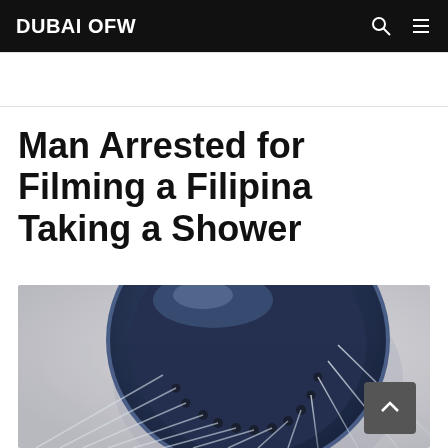DUBAI OFW
Man Arrested for Filming a Filipina Taking a Shower
[Figure (photo): Close-up photograph of a dark navy blue shower head with water streams spraying out, on a light grey background]